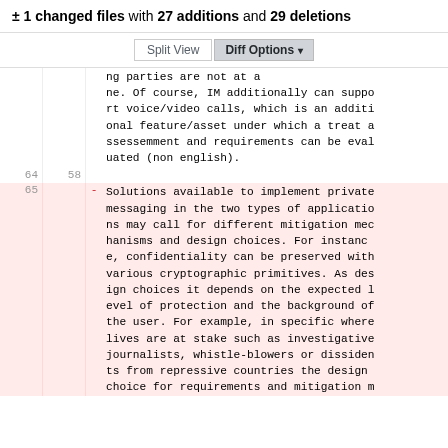± 1 changed files with 27 additions and 29 deletions
[Figure (screenshot): GitHub diff view toolbar with 'Split View' and 'Diff Options' buttons]
ng parties are not at [obscured by toolbar] ne. Of course, IM additionally can support voice/video calls, which is an additional feature/asset under which a treat assessmment and requirements can be evaluated (non english).
Line numbers 64 / 58 — empty diff line
65 - Solutions available to implement private messaging in the two types of applications may call for different mitigation mechanisms and design choices. For instance, confidentiality can be preserved with various cryptographic primitives. As design choices it depends on the expected level of protection and the background of the user. For example, in specific where lives are at stake such as investigative journalists, whistle-blowers or dissidents from repressive countries the design choice for requirements and mitigation m